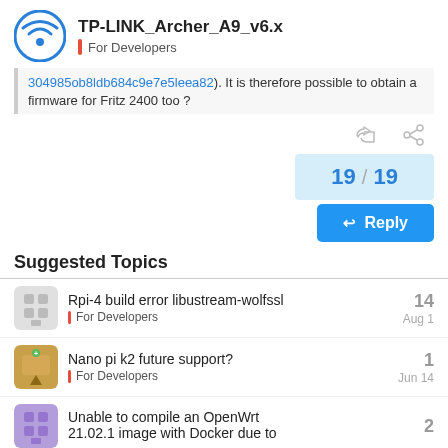TP-LINK_Archer_A9_v6.x — For Developers
304985ob8ldb684c9e7e5leea82). It is therefore possible to obtain a firmware for Fritz 2400 too ?
19 / 19
Reply
Suggested Topics
Rpi-4 build error libustream-wolfssl — For Developers — 14 — Aug 1
Nano pi k2 future support? — For Developers — 1 — Jun 14
Unable to compile an OpenWrt 21.02.1 image with Docker due to — 2